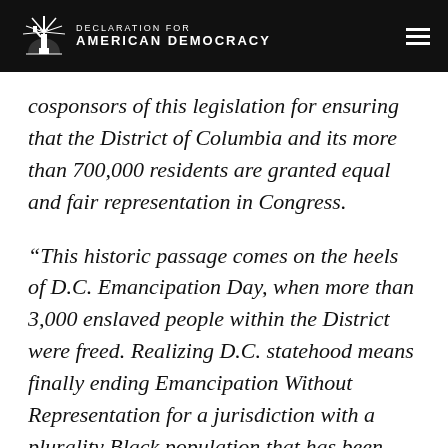DECLARATION FOR AMERICAN DEMOCRACY
cosponsors of this legislation for ensuring that the District of Columbia and its more than 700,000 residents are granted equal and fair representation in Congress.
“This historic passage comes on the heels of D.C. Emancipation Day, when more than 3,000 enslaved people within the District were freed. Realizing D.C. statehood means finally ending Emancipation Without Representation for a jurisdiction with a plurality Black population that has been actively suppressed